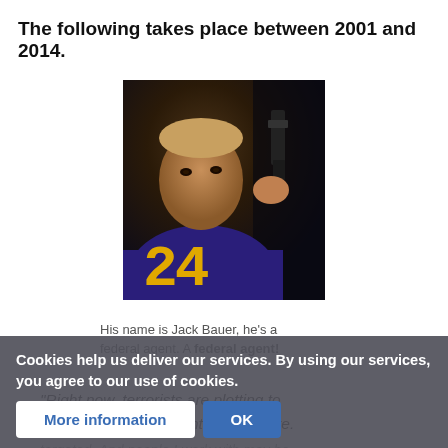The following takes place between 2001 and 2014.
[Figure (photo): Promotional photo of Jack Bauer from the TV show '24', holding a gun against a dark background, with the '24' logo in yellow digital clock font at the bottom left.]
His name is Jack Bauer, he's a federal agent. A federal agent!
"Right now, terrorists are plotting to assassinate a presidential candidate.
targeted. And people I work with may be involved... — Jack Bauer — and today's the largest of
Cookies help us deliver our services. By using our services, you agree to our use of cookies.
More information
OK